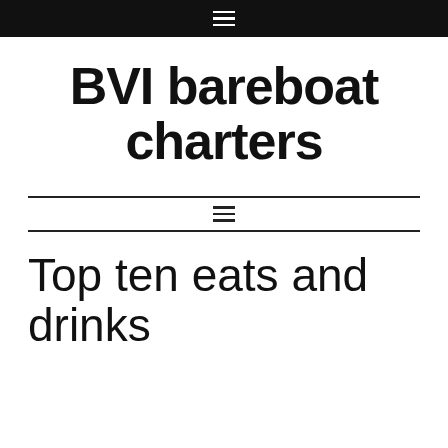≡ (hamburger menu icon)
BVI bareboat charters
≡ (hamburger menu icon, middle nav)
Top ten eats and drinks